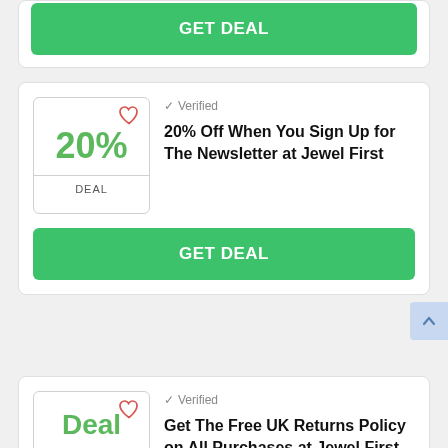GET DEAL
✓ Verified
20% Off When You Sign Up for The Newsletter at Jewel First
GET DEAL
✓ Verified
Get The Free UK Returns Policy on All Purchases at Jewel First